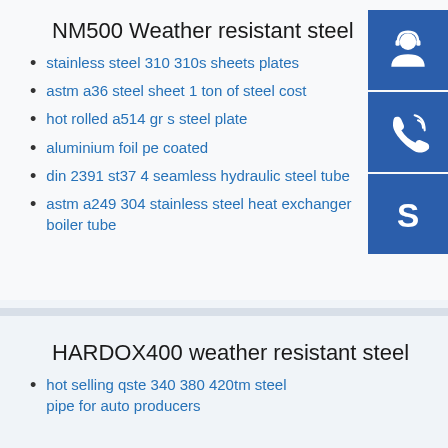NM500 Weather resistant steel
stainless steel 310 310s sheets plates
astm a36 steel sheet 1 ton of steel cost
hot rolled a514 gr s steel plate
aluminium foil pe coated
din 2391 st37 4 seamless hydraulic steel tube
astm a249 304 stainless steel heat exchanger boiler tube
HARDOX400 weather resistant steel
hot selling qste 340 380 420tm steel pipe for auto producers